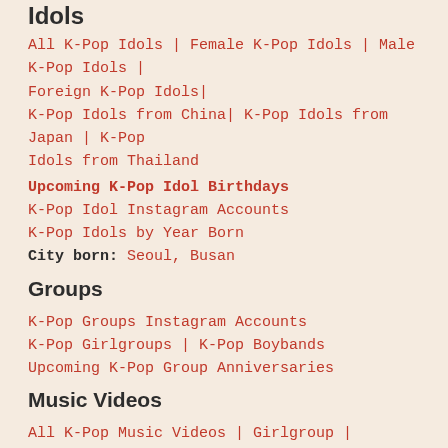Idols
All K-Pop Idols | Female K-Pop Idols | Male K-Pop Idols | Foreign K-Pop Idols| K-Pop Idols from China| K-Pop Idols from Japan | K-Pop Idols from Thailand
Upcoming K-Pop Idol Birthdays
K-Pop Idol Instagram Accounts
K-Pop Idols by Year Born
City born: Seoul, Busan
Groups
K-Pop Groups Instagram Accounts
K-Pop Girlgroups | K-Pop Boybands
Upcoming K-Pop Group Anniversaries
Music Videos
All K-Pop Music Videos | Girlgroup | Boyband
K-Pop MV who is who
K-Pop Music Videos by Year Released